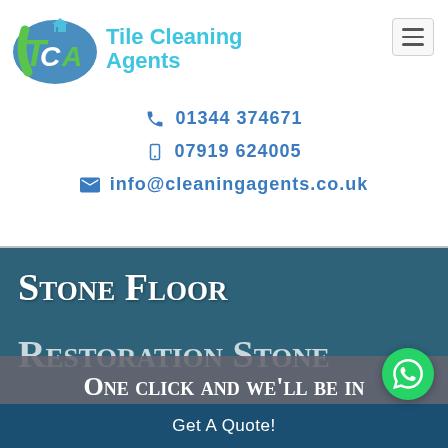[Figure (logo): Tile Cleaning Agents logo with TCA initials in green/blue and company name in teal]
01344 374671
07919 624005
info@cleaningagents.co.uk
Stone Floor Restoration Stone
One click and we'll be in touch
Get A Quote!